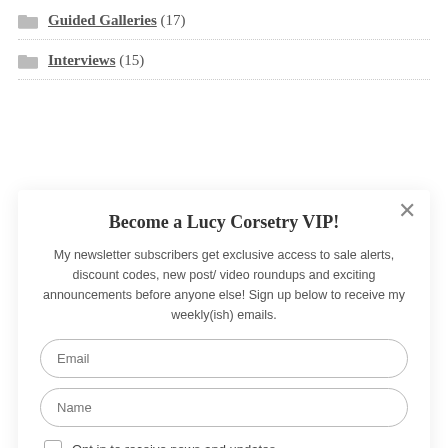Guided Galleries (17)
Interviews (15)
Become a Lucy Corsetry VIP!
My newsletter subscribers get exclusive access to sale alerts, discount codes, new post/ video roundups and exciting announcements before anyone else! Sign up below to receive my weekly(ish) emails.
Email
Name
Opt in to receive news and updates.
SUBSCRIBE